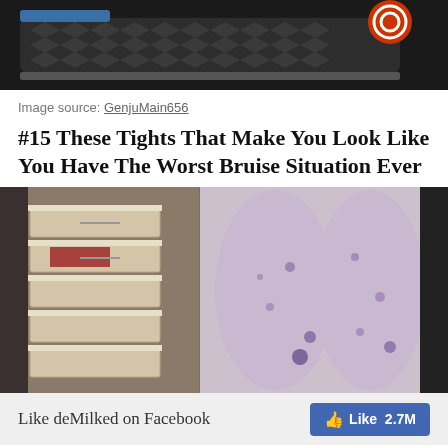[Figure (photo): Close-up photo of a shoe sole, dark woven pattern, with a red and white circular logo/sticker in the top right corner.]
Image source: GenjuMain656
#15 These Tights That Make You Look Like You Have The Worst Bruise Situation Ever
[Figure (photo): Two-panel photo: left panel shows wooden shelves/drawers with clothing; right panel shows legs wearing tights that have a bruise-like pattern printed on them.]
Like deMilked on Facebook  Like 2.7M